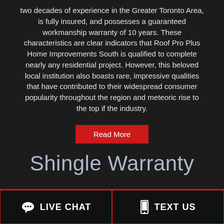two decades of experience in the Greater Toronto Area, is fully insured, and possesses a guaranteed workmanship warranty of 10 years. These characteristics are clear indicators that Roof Pro Plus Home Improvements South is qualified to complete nearly any residential project. However, this beloved local institution also boasts rare, impressive qualities that have contributed to their widespread consumer popularity throughout the region and meteoric rise to the top if the industry.
Read More
Shingle Warranty
LIVE CHAT
TEXT US